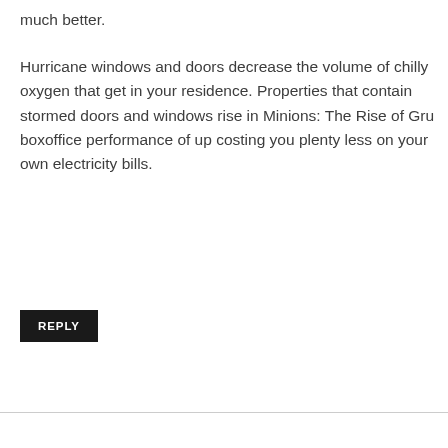much better.
Hurricane windows and doors decrease the volume of chilly oxygen that get in your residence. Properties that contain stormed doors and windows rise in Minions: The Rise of Gru boxoffice performance of up costing you plenty less on your own electricity bills.
REPLY